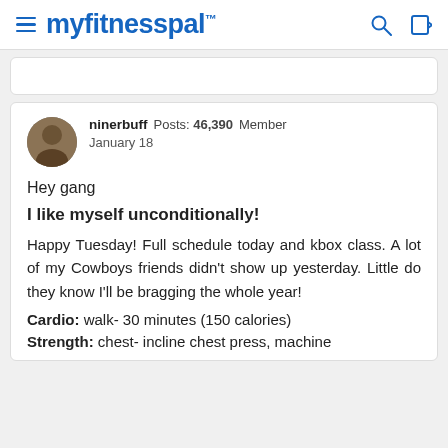myfitnesspal
ninerbuff  Posts: 46,390  Member
January 18
Hey gang
I like myself unconditionally!
Happy Tuesday! Full schedule today and kbox class. A lot of my Cowboys friends didn't show up yesterday. Little do they know I'll be bragging the whole year!
Cardio: walk- 30 minutes (150 calories)
Strength: chest- incline chest press, machine